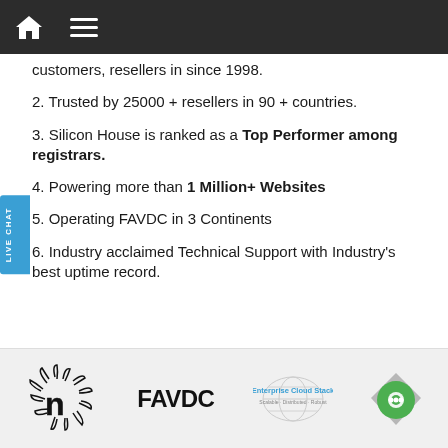Navigation bar with home and menu icons
customers, resellers in since 1998.
2. Trusted by 25000 + resellers in 90 + countries.
3. Silicon House is ranked as a Top Performer among registrars.
4. Powering more than 1 Million+ Websites
5. Operating FAVDC in 3 Continents
6. Industry acclaimed Technical Support with Industry's best uptime record.
[Figure (logo): Bottom bar with logos: stylized n logo, FAVDC text logo, Enterprise Cloud Stack logo, green chat bubble with diamond shape]